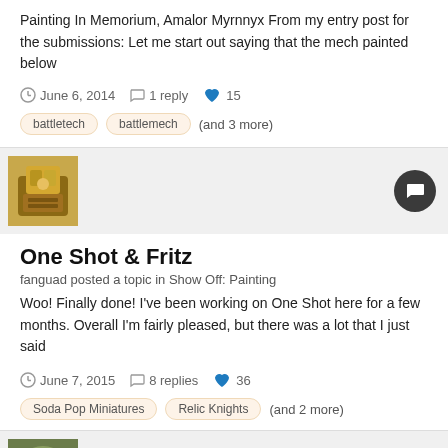Painting In Memorium, Amalor Myrnnyx From my entry post for the submissions: Let me start out saying that the mech painted below
June 6, 2014  1 reply  15
battletech  battlemech  (and 3 more)
[Figure (photo): Avatar thumbnail of a painted miniature figure, golden armor]
One Shot & Fritz
fanguad posted a topic in Show Off: Painting
Woo! Finally done! I've been working on One Shot here for a few months. Overall I'm fairly pleased, but there was a lot that I just said
June 7, 2015  8 replies  36
Soda Pop Miniatures  Relic Knights  (and 2 more)
[Figure (photo): Avatar thumbnail of a painted miniature figure, green/yellow tones]